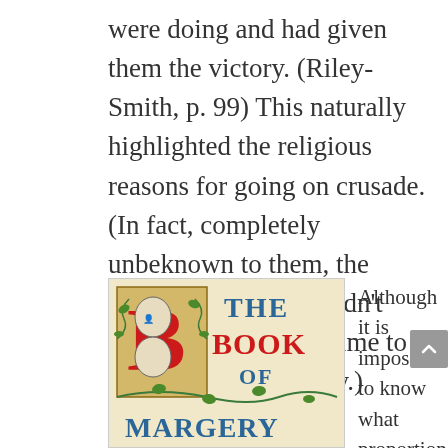were doing and had given them the victory. (Riley-Smith, p. 99) This naturally highlighted the religious reasons for going on crusade. (In fact, completely unbeknown to them, the crusaders simply couldn't have picked a better time to attack. They got lucky.)
[Figure (illustration): Book cover of 'The Book of Margery' featuring illuminated medieval-style lettering with red 'B' decorated with portrait medallions, blue title text 'THE BOOK OF', ornate green vine decorations, and blue gothic lettering 'MARGERY' at the bottom]
Although it is impossible to know what proportion of Western